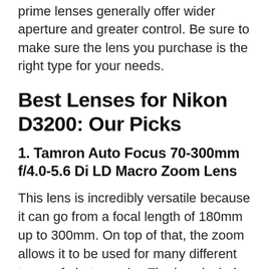prime lenses generally offer wider aperture and greater control. Be sure to make sure the lens you purchase is the right type for your needs.
Best Lenses for Nikon D3200: Our Picks
1. Tamron Auto Focus 70-300mm f/4.0-5.6 Di LD Macro Zoom Lens
This lens is incredibly versatile because it can go from a focal length of 180mm up to 300mm. On top of that, the zoom allows it to be used for many different types of photography. The lens includes a built-in motor that helps make sure the focusing is not only quick, but also incredibly